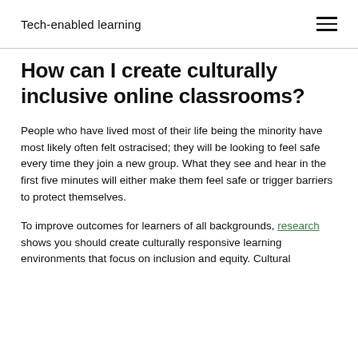Tech-enabled learning
How can I create culturally inclusive online classrooms?
People who have lived most of their life being the minority have most likely often felt ostracised; they will be looking to feel safe every time they join a new group. What they see and hear in the first five minutes will either make them feel safe or trigger barriers to protect themselves.
To improve outcomes for learners of all backgrounds, research shows you should create culturally responsive learning environments that focus on inclusion and equity. Cultural